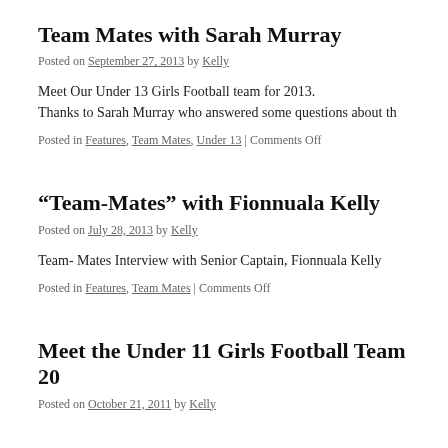Team Mates with Sarah Murray
Posted on September 27, 2013 by Kelly
Meet Our Under 13 Girls Football team for 2013.
Thanks to Sarah Murray who answered some questions about th
Posted in Features, Team Mates, Under 13 | Comments Off
“Team-Mates” with Fionnuala Kelly
Posted on July 28, 2013 by Kelly
Team- Mates Interview with Senior Captain, Fionnuala Kelly
Posted in Features, Team Mates | Comments Off
Meet the Under 11 Girls Football Team 20
Posted on October 21, 2011 by Kelly